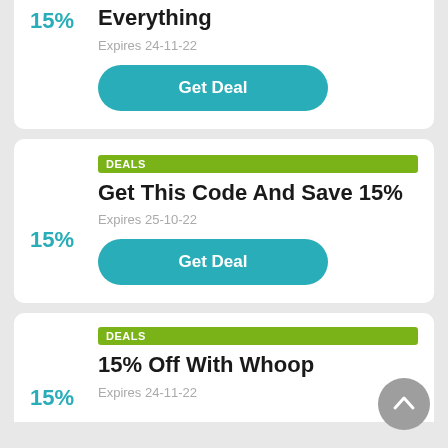15%
Everything
Expires 24-11-22
Get Deal
DEALS
15%
Get This Code And Save 15%
Expires 25-10-22
Get Deal
DEALS
15%
15% Off With Whoop
Expires 24-11-22